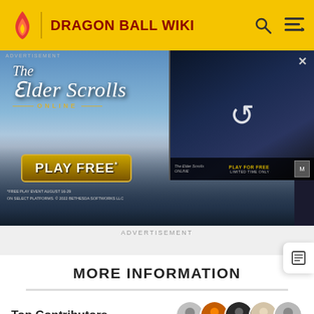DRAGON BALL WIKI
[Figure (screenshot): Advertisement for The Elder Scrolls Online showing PLAY FREE banner with medieval battle scene, and a video thumbnail with reload icon. Text: ADVERTISEMENT, The Elder Scrolls ONLINE, PLAY FREE*, *FREE PLAY EVENT AUGUST 16-29 ON SELECT PLATFORMS. © 2022 BETHESDA SOFTWORKS LLC, PLAY FOR FREE LIMITED TIME ONLY]
ADVERTISEMENT
MORE INFORMATION
Top Contributors
Categories
Community content is available under CC-BY-SA unless